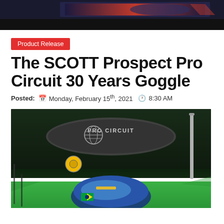[Figure (photo): Top banner image with racing/motorsports theme, dark background with red gradient]
Product Release
The SCOTT Prospect Pro Circuit 30 Years Goggle
Posted: Monday, February 15th, 2021  8:30 AM
[Figure (photo): Photo of SCOTT Prospect Pro Circuit 30 Years Goggle displayed in front of a Pro Circuit backdrop with green and white colors, showing the goggle with blue and yellow accents]